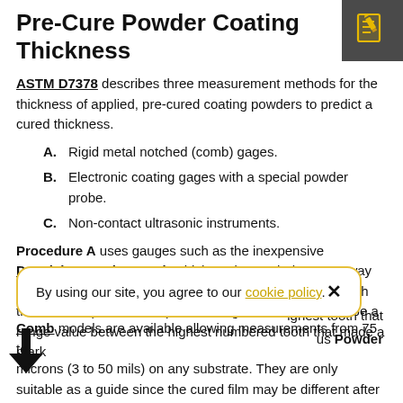Pre-Cure Powder Coating Thickness
ASTM D7378 describes three measurement methods for the thickness of applied, pre-cured coating powders to predict a cured thickness.
A. Rigid metal notched (comb) gages.
B. Electronic coating gages with a special powder probe.
C. Non-contact ultrasonic instruments.
Procedure A uses gauges such as the inexpensive DeFelsko Powder Comb which works much the same way as a wet film thickness gage. The comb is dragged through the uncured powder and powder height is considered to be a range value between the highest numbered tooth that made a mark
By using our site, you agree to our cookie policy.
ighest tooth that
us Powder
Comb models are available allowing measurements from 75 to microns (3 to 50 mils) on any substrate. They are only suitable as a guide since the cured film may be different after
[Figure (illustration): Icon of a document with a pencil, in yellow/gold on dark grey background, top right corner]